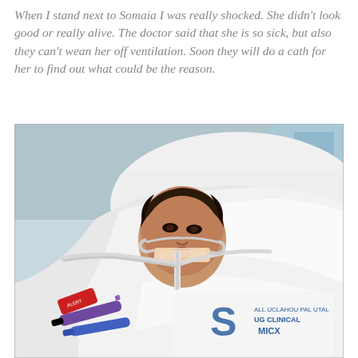When I stand next to Somaia I was really shocked. She didn't look good or really alive. The doctor said that she is so sick, but also they can't wean her off ventilation. Soon they will do a cath for her to find out what could be the reason.
[Figure (photo): A young infant or baby lying in a hospital bed, intubated and on ventilation with medical tubes and equipment visible. The baby is wrapped in white hospital blankets/sheets with a medical institution logo visible. Various IV lines and medical devices are connected.]